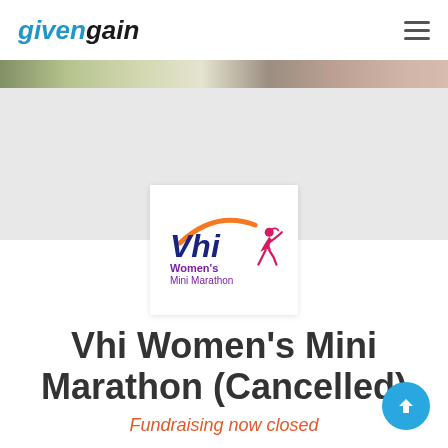givengain
[Figure (photo): Banner photograph showing an outdoor scene, partially cropped, with trees and sky visible at the top]
[Figure (logo): Vhi Women's Mini Marathon logo — stylized 'Vhi' in blue/purple with an orange arc, and a female runner silhouette in purple/pink, text reads Women's Mini Marathon]
Vhi Women's Mini Marathon (Cancelled)
Fundraising now closed